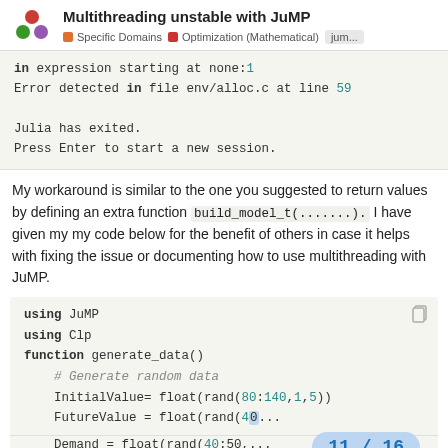Multithreading unstable with JuMP | Specific Domains | Optimization (Mathematical) | jum...
in expression starting at none:1
Error detected in file env/alloc.c at line 59

Julia has exited.
Press Enter to start a new session.
My workaround is similar to the one you suggested to return values by defining an extra function build_model_t(.......). I have given my my code below for the benefit of others in case it helps with fixing the issue or documenting how to use multithreading with JuMP.
using JuMP
using Clp
function generate_data()
    # Generate random data
    InitialValue= float(rand(80:140,1,5))
    FutureValue = float(rand(40...
    Demand = float(rand(40:50,...